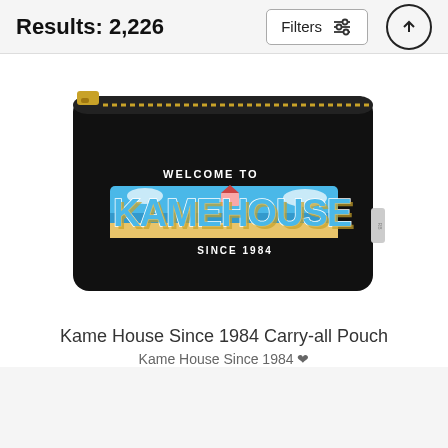Results: 2,226
[Figure (photo): A black carry-all pouch with a gold zipper, featuring a 'Welcome to Kamehouse Since 1984' graphic design in blue and yellow retro lettering with a tropical scene inside the letters.]
Kame House Since 1984 Carry-all Pouch
Kame House Since 1984